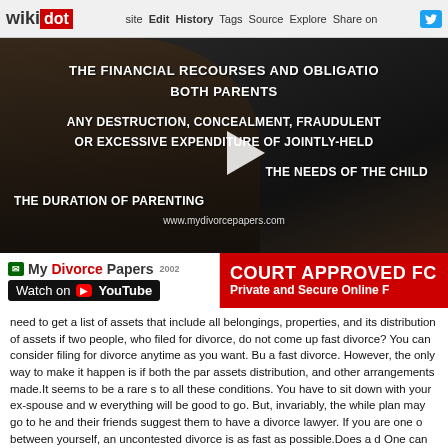wikidot | Edit | History | Tags | Source | Explore | Share on [Twitter]
[Figure (screenshot): Video thumbnail for MyDivorcePapers.com showing text about financial recourses and obligations for both parents, destruction/concealment/fraudulent or excessive expenditure of jointly-held assets, the needs of the child, and the duration of parenting. Bottom bar shows MyDivorce Papers logo, Watch on YouTube button, and 'COURT APPROVED FORMS - Private and Secure Online Filing'.]
need to get a list of assets that include all belongings, properties, and its distribution of assets if two people, who filed for divorce, do not come up fast divorce? You can consider filing for divorce anytime as you want. Bu a fast divorce. However, the only way to make it happen is if both the par assets distribution, and other arrangements made.It seems to be a rare s to all these conditions. You have to sit down with your ex-spouse and w everything will be good to go. But, invariably, the while plan may go to he and their friends suggest them to have a divorce lawyer. If you are one o between yourself, an uncontested divorce is as fast as possible.Does a d One can have a divorce attorney in order to guide you through the entir from family or friends to get a good attorney who can further ask for refe clients were satisfied. When you file for divorce, a lawyer will make th